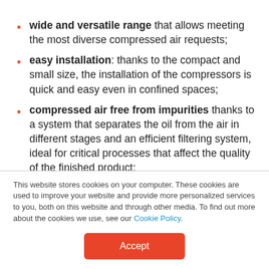wide and versatile range that allows meeting the most diverse compressed air requests;
easy installation: thanks to the compact and small size, the installation of the compressors is quick and easy even in confined spaces;
compressed air free from impurities thanks to a system that separates the oil from the air in different stages and an efficient filtering system, ideal for critical processes that affect the quality of the finished product:
This website stores cookies on your computer. These cookies are used to improve your website and provide more personalized services to you, both on this website and through other media. To find out more about the cookies we use, see our Cookie Policy.
Accept